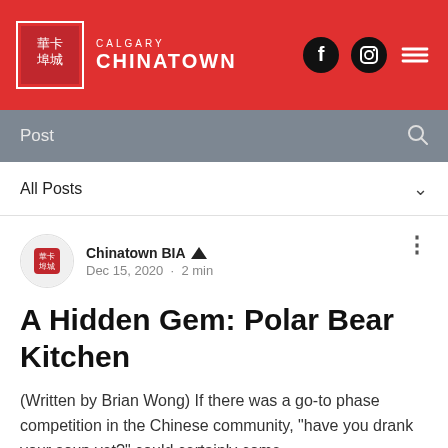CALGARY CHINATOWN
Post
All Posts
Chinatown BIA · Dec 15, 2020 · 2 min
A Hidden Gem: Polar Bear Kitchen
(Written by Brian Wong) If there was a go-to phase competition in the Chinese community, "have you drank your soup yet?" could certainly come